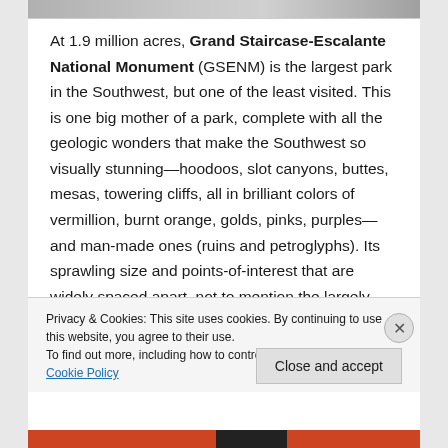[Figure (photo): Cropped top edge of a photo, showing a faint landscape image strip]
At 1.9 million acres, Grand Staircase-Escalante National Monument (GSENM) is the largest park in the Southwest, but one of the least visited. This is one big mother of a park, complete with all the geologic wonders that make the Southwest so visually stunning—hoodoos, slot canyons, buttes, mesas, towering cliffs, all in brilliant colors of vermillion, burnt orange, golds, pinks, purples—and man-made ones (ruins and petroglyphs). Its sprawling size and points-of-interest that are widely spaced apart, not to mention the largely
Privacy & Cookies: This site uses cookies. By continuing to use this website, you agree to their use.
To find out more, including how to control cookies, see here: Cookie Policy
Close and accept